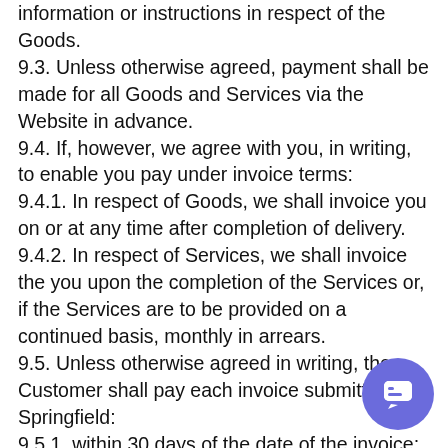information or instructions in respect of the Goods. 9.3. Unless otherwise agreed, payment shall be made for all Goods and Services via the Website in advance. 9.4. If, however, we agree with you, in writing, to enable you pay under invoice terms: 9.4.1. In respect of Goods, we shall invoice you on or at any time after completion of delivery. 9.4.2. In respect of Services, we shall invoice the you upon the completion of the Services or, if the Services are to be provided on a continued basis, monthly in arrears. 9.5. Unless otherwise agreed in writing, the Customer shall pay each invoice submitted by Springfield: 9.5.1. within 30 days of the date of the invoice; 9.5.2. in full and in cleared funds to a bank account nominated in writing by Springfield, and 9.5.3. time for payment shall be of the essence of the
[Figure (other): Purple circular chat button with speech bubble icon in bottom right corner]